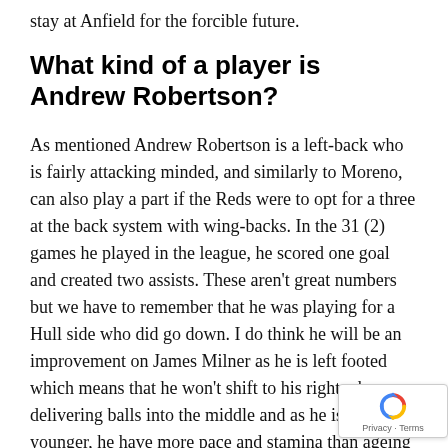stay at Anfield for the forcible future.
What kind of a player is Andrew Robertson?
As mentioned Andrew Robertson is a left-back who is fairly attacking minded, and similarly to Moreno, can also play a part if the Reds were to opt for a three at the back system with wing-backs. In the 31 (2) games he played in the league, he scored one goal and created two assists. These aren't great numbers but we have to remember that he was playing for a Hull side who did go down. I do think he will be an improvement on James Milner as he is left footed which means that he won't shift to his right when delivering balls into the middle and as he is much younger, he have more pace and stamina than ageing James Milner.